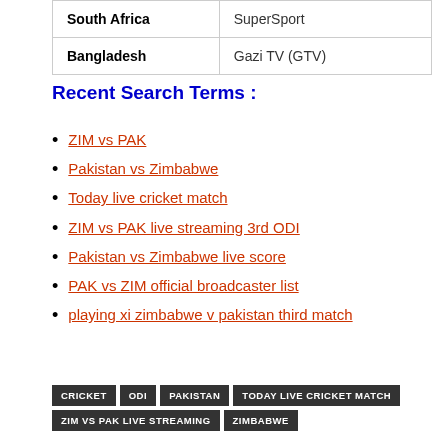| Country | Broadcaster |
| --- | --- |
| South Africa | SuperSport |
| Bangladesh | Gazi TV (GTV) |
Recent Search Terms :
ZIM vs PAK
Pakistan vs Zimbabwe
Today live cricket match
ZIM vs PAK live streaming 3rd ODI
Pakistan vs Zimbabwe live score
PAK vs ZIM official broadcaster list
playing xi zimbabwe v pakistan third match
CRICKET | ODI | PAKISTAN | TODAY LIVE CRICKET MATCH | ZIM VS PAK LIVE STREAMING | ZIMBABWE